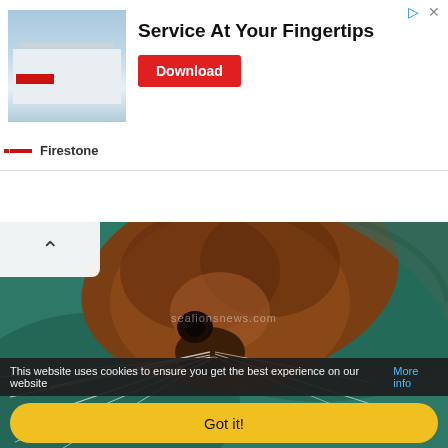[Figure (screenshot): Firestone advertisement banner with store photo, text 'Service At Your Fingertips' and red Download button]
[Figure (photo): Close-up photo of a sea lion underwater looking at the camera, teal/green background, watermark 'sealionsnews.com', credit 'Caters News Agency']
Sea Lion Investigates Camera
This vain sealion adorably admires his own reflection - unaware a photographer is secretly snapping away. The Steller sea lion was captured by photog... read more»
This website uses cookies to ensure you get the best experience on our website More info
Got it!